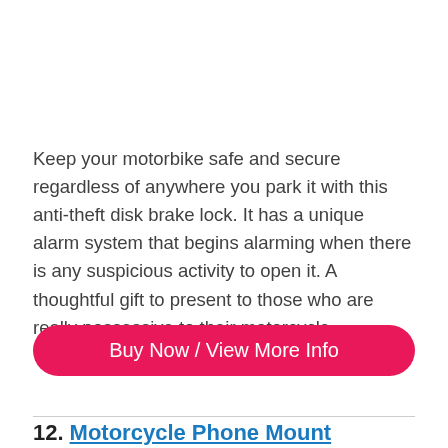Keep your motorbike safe and secure regardless of anywhere you park it with this anti-theft disk brake lock. It has a unique alarm system that begins alarming when there is any suspicious activity to open it. A thoughtful gift to present to those who are really possessive to their motorcycle.
[Figure (other): Pink rounded rectangle button with white text reading 'Buy Now / View More Info']
12. Motorcycle Phone Mount